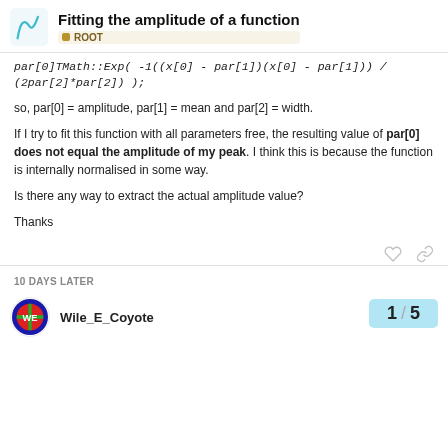Fitting the amplitude of a function — ROOT
par[0]TMath::Exp( -1((x[0] - par[1])(x[0] - par[1])) / (2par[2]*par[2]) );
so, par[0] = amplitude, par[1] = mean and par[2] = width.
If I try to fit this function with all parameters free, the resulting value of par[0] does not equal the amplitude of my peak. I think this is because the function is internally normalised in some way.
Is there any way to extract the actual amplitude value?
Thanks
10 DAYS LATER
Wile_E_Coyote
1 / 5